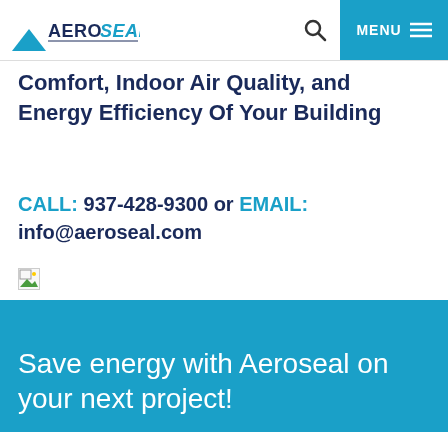AEROSEAL [logo] | Search | MENU
Comfort, Indoor Air Quality, and Energy Efficiency Of Your Building
CALL: 937-428-9300 or EMAIL: info@aeroseal.com
[Figure (photo): Broken image placeholder icon]
Save energy with Aeroseal on your next project!